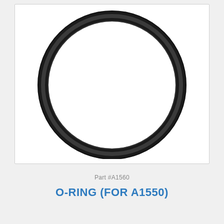[Figure (schematic): O-ring component shown as a circular ring with thick black border on white background. The ring is a large toroidal shape viewed from above, showing the circular cross-section profile.]
Part #A1560
O-RING (FOR A1550)